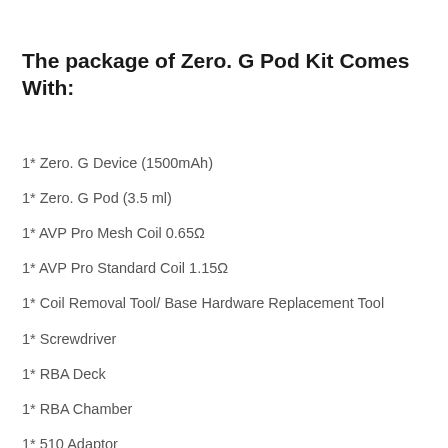The package of Zero. G Pod Kit Comes With:
1* Zero. G Device (1500mAh)
1* Zero. G Pod (3.5 ml)
1* AVP Pro Mesh Coil 0.65Ω
1* AVP Pro Standard Coil 1.15Ω
1* Coil Removal Tool/ Base Hardware Replacement Tool
1* Screwdriver
1* RBA Deck
1* RBA Chamber
1* 510 Adaptor